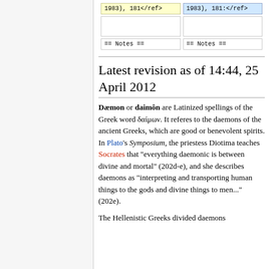| 1983), 181</ref> | 1983), 181:</ref> |
|  |  |
| == Notes == | == Notes == |
Latest revision as of 14:44, 25 April 2012
Dæmon or daimôn are Latinized spellings of the Greek word δαίμων. It referes to the daemons of the ancient Greeks, which are good or benevolent spirits. In Plato's Symposium, the priestess Diotima teaches Socrates that "everything daemonic is between divine and mortal" (202d-e), and she describes daemons as "interpreting and transporting human things to the gods and divine things to men..." (202e).
The Hellenistic Greeks divided daemons